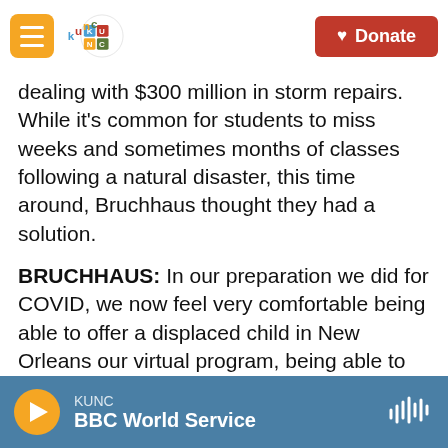KUNC header with logo and Donate button
dealing with $300 million in storm repairs. While it's common for students to miss weeks and sometimes months of classes following a natural disaster, this time around, Bruchhaus thought they had a solution.
BRUCHHAUS: In our preparation we did for COVID, we now feel very comfortable being able to offer a displaced child in New Orleans our virtual program, being able to have a displaced teacher in Dallas who has no home here right now able with Internet to teach that for us.
JUHASZ: That was a few weeks ago. And while
KUNC | BBC World Service (audio player bar)